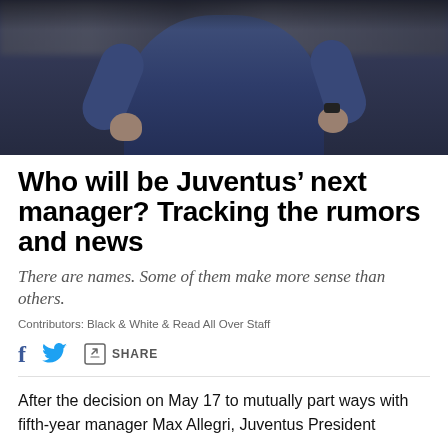[Figure (photo): A person wearing a dark navy blue jacket photographed from the torso down, with arms slightly outstretched, against a blurred crowd background.]
Who will be Juventus' next manager? Tracking the rumors and news
There are names. Some of them make more sense than others.
Contributors: Black & White & Read All Over Staff
f [share icons] SHARE
After the decision on May 17 to mutually part ways with fifth-year manager Max Allegri, Juventus President